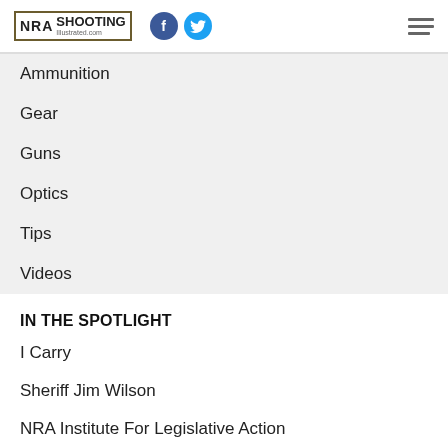NRA Shooting Illustrated .com | Facebook | Twitter | Menu
Ammunition
Gear
Guns
Optics
Tips
Videos
IN THE SPOTLIGHT
I Carry
Sheriff Jim Wilson
NRA Institute For Legislative Action
NRA Explore
NRA MEMBERSHIP
NRA Membership